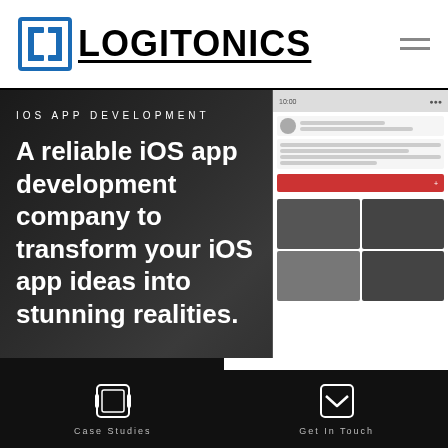[Figure (logo): Logitonics logo with bracket icon and bold text]
IOS APP DEVELOPMENT
A reliable iOS app development company to transform your iOS app ideas into stunning realities.
[Figure (screenshot): Mobile app screenshot showing an Instagram-like feed on right side of hero]
Featured clients
[Figure (infographic): Case Studies icon - square with film strip style icon]
Case Studies
[Figure (infographic): Get In Touch icon - square with envelope/chevron icon]
Get In Touch